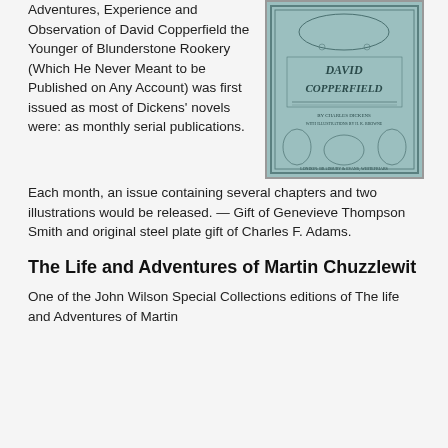Adventures, Experience and Observation of David Copperfield the Younger of Blunderstone Rookery (Which He Never Meant to be Published on Any Account) was first issued as most of Dickens' novels were: as monthly serial publications. Each month, an issue containing several chapters and two illustrations would be released. — Gift of Genevieve Thompson Smith and original steel plate gift of Charles F. Adams.
[Figure (illustration): Book cover illustration of David Copperfield, a decorative vintage cover with ornate border featuring illustrations of characters and scenes, teal/blue-green colored background, with text 'David Copperfield' prominently displayed.]
The Life and Adventures of Martin Chuzzlewit
One of the John Wilson Special Collections editions of The Life and Adventures of Martin Chuzzlewit...